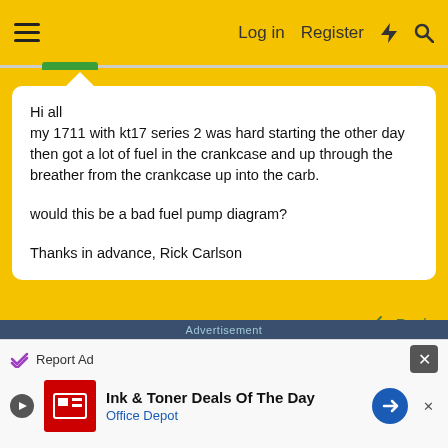Log in  Register
Hi all

my 1711 with kt17 series 2 was hard starting the other day then got a lot of fuel in the crankcase and up through the breather from the crankcase up into the carb.



would this be a bad fuel pump diagram?

Thanks in advance, Rick Carlson
Reply
Advertisement
Report Ad
Ink & Toner Deals Of The Day
Office Depot